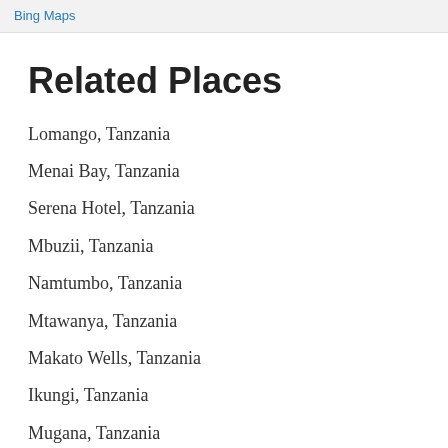Bing Maps
Related Places
Lomango, Tanzania
Menai Bay, Tanzania
Serena Hotel, Tanzania
Mbuzii, Tanzania
Namtumbo, Tanzania
Mtawanya, Tanzania
Makato Wells, Tanzania
Ikungi, Tanzania
Mugana, Tanzania